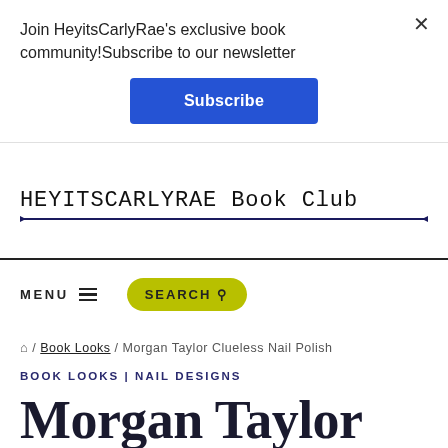Join HeyitsCarlyRae's exclusive book community!Subscribe to our newsletter
Subscribe
HEYITSCARLYRAE Book Club
MENU  SEARCH
/ Book Looks / Morgan Taylor Clueless Nail Polish
BOOK LOOKS | NAIL DESIGNS
Morgan Taylor Clueless Nail Polish